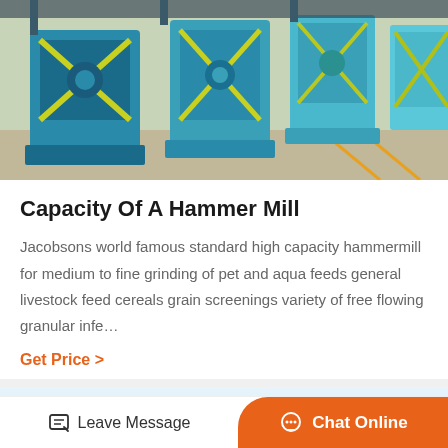[Figure (photo): Industrial blue hammer mill machines in a factory setting]
Capacity Of A Hammer Mill
Jacobsons world famous standard high capacity hammermill for medium to fine grinding of pet and aqua feeds general livestock feed cereals grain screenings variety of free flowing granular infe…
Get Price  >
[Figure (photo): Industrial machinery photographed from below against a light blue sky]
Leave Message   Chat Online